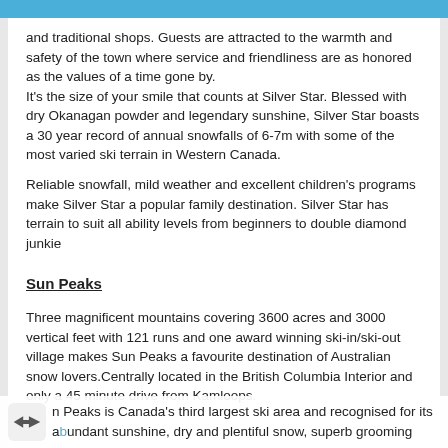and traditional shops. Guests are attracted to the warmth and safety of the town where service and friendliness are as honored as the values of a time gone by.
It's the size of your smile that counts at Silver Star. Blessed with dry Okanagan powder and legendary sunshine, Silver Star boasts a 30 year record of annual snowfalls of 6-7m with some of the most varied ski terrain in Western Canada.
Reliable snowfall, mild weather and excellent children's programs make Silver Star a popular family destination. Silver Star has terrain to suit all ability levels from beginners to double diamond junkie
Sun Peaks
Three magnificent mountains covering 3600 acres and 3000 vertical feet with 121 runs and one award winning ski-in/ski-out village makes Sun Peaks a favourite destination of Australian snow lovers.Centrally located in the British Columbia Interior and only a 45 minute drive from Kamloops.
n Peaks is Canada's third largest ski area and recognised for its abundant sunshine, dry and plentiful snow, superb grooming